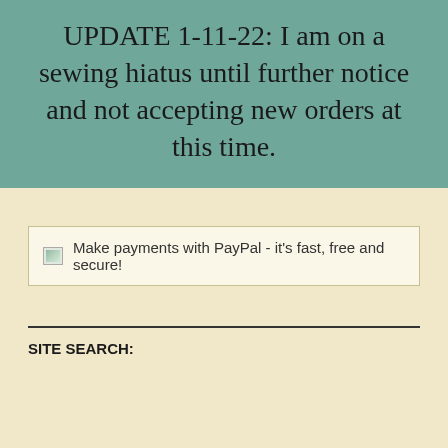UPDATE 1-11-22: I am on a sewing hiatus until further notice and not accepting new orders at this time.
[Figure (other): Broken image placeholder followed by text: Make payments with PayPal - it's fast, free and secure!]
SITE SEARCH: